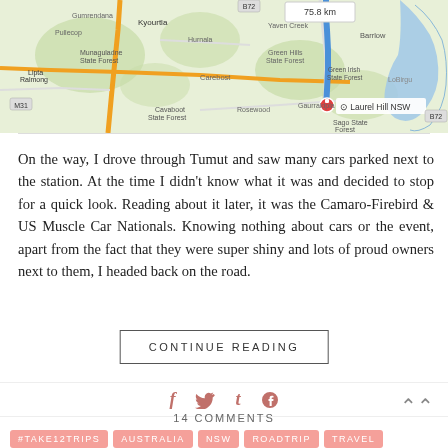[Figure (map): Google Maps screenshot showing a route with a blue path leading to Laurel Hill NSW, with surrounding areas including Green Hills State Forest, Sago State Forest, and other regional landmarks. Distance shown as 75.8 km.]
On the way, I drove through Tumut and saw many cars parked next to the station. At the time I didn't know what it was and decided to stop for a quick look. Reading about it later, it was the Camaro-Firebird & US Muscle Car Nationals. Knowing nothing about cars or the event, apart from the fact that they were super shiny and lots of proud owners next to them, I headed back on the road.
CONTINUE READING
[Figure (other): Social media share icons: Facebook (f), Twitter (bird), Tumblr (t), Pinterest (p)]
14 COMMENTS
#TAKE12TRIPS  AUSTRALIA  NSW  ROADTRIP  TRAVEL